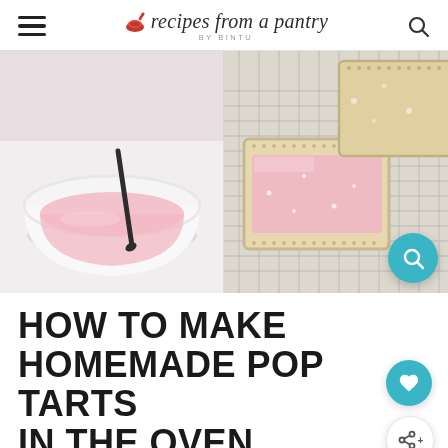recipes from a pantry BY BINTU
[Figure (photo): Two-panel food photo: left panel shows a white bowl with pink strawberry glaze being stirred with a dark spoon; right panel shows homemade pop tarts with pink icing on a wire cooling rack]
HOW TO MAKE HOMEMADE POP TARTS IN THE OVEN